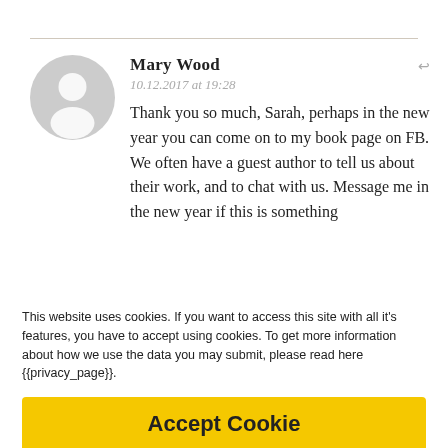Mary Wood
10.12.2017 at 19:28
Thank you so much, Sarah, perhaps in the new year you can come on to my book page on FB. We often have a guest author to tell us about their work, and to chat with us. Message me in the new year if this is something
This website uses cookies. If you want to access this site with all it's features, you have to accept using cookies. To get more information about how we use the data you may submit, please read here {{privacy_page}}.
Accept Cookie